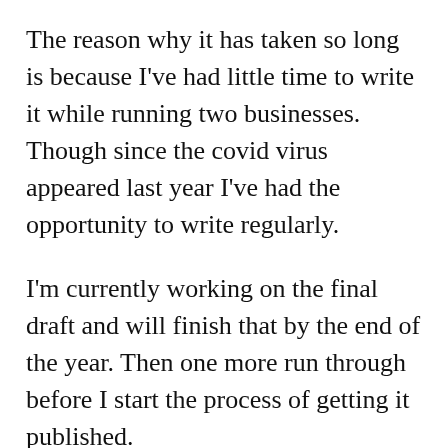The reason why it has taken so long is because I've had little time to write it while running two businesses. Though since the covid virus appeared last year I've had the opportunity to write regularly.
I'm currently working on the final draft and will finish that by the end of the year. Then one more run through before I start the process of getting it published.
I've leaning towards self publishing rather than the traditional publishing option because I do prefer control of my memoir.